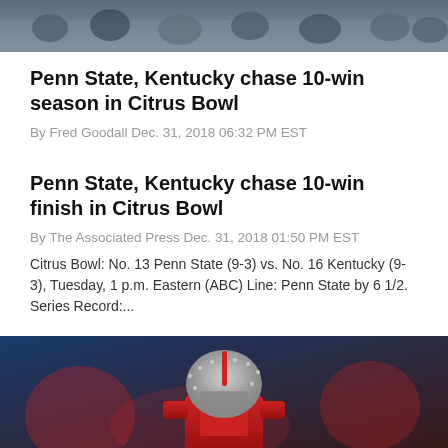[Figure (photo): Top portion of a crowd of people at a sports event, partially cropped]
Penn State, Kentucky chase 10-win season in Citrus Bowl
By Fred Goodall Dec. 31, 2018 06:32 PM EST
Penn State, Kentucky chase 10-win finish in Citrus Bowl
By The Associated Press Dec. 31, 2018 01:50 PM EST
Citrus Bowl: No. 13 Penn State (9-3) vs. No. 16 Kentucky (9-3), Tuesday, 1 p.m. Eastern (ABC) Line: Penn State by 6 1/2. Series Record:...
[Figure (photo): Ohio State football player in red uniform and silver helmet with stars during a game]